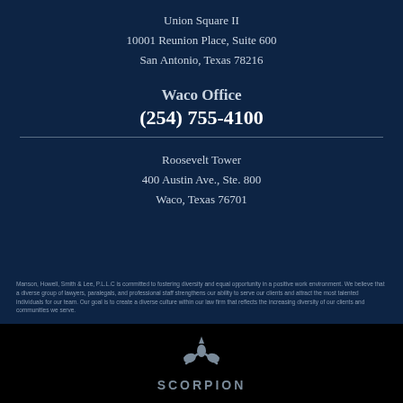Union Square II
10001 Reunion Place, Suite 600
San Antonio, Texas 78216
Waco Office
(254) 755-4100
Roosevelt Tower
400 Austin Ave., Ste. 800
Waco, Texas 76701
Manson, Howell, Smith & Lee, P.L.L.C is committed to fostering diversity and equal opportunity in a positive work environment. We believe that a diverse group of lawyers, paralegals, and professional staff strengthens our ability to serve our clients and attract the most talented individuals for our team. Our goal is to create a diverse culture within our law firm that reflects the increasing diversity of our clients and communities we serve.
[Figure (logo): Scorpion logo — stylized scorpion icon above the word SCORPION in bold spaced letters]